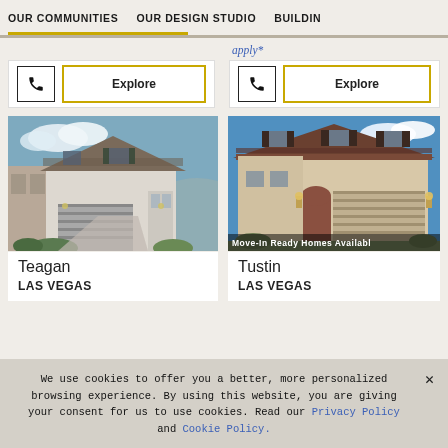OUR COMMUNITIES | OUR DESIGN STUDIO | BUILDIN
apply*
[Figure (screenshot): Phone icon button and gold-bordered Explore button (left community card)]
[Figure (screenshot): Phone icon button and gold-bordered Explore button (right community card)]
[Figure (photo): Exterior photo of Teagan home - two-story stucco house with gray garage door, Las Vegas]
Teagan
LAS VEGAS
[Figure (photo): Exterior photo of Tustin home - two-story stucco house with brown garage door, Las Vegas. Overlay text: Move-In Ready Homes Availabl]
Tustin
LAS VEGAS
We use cookies to offer you a better, more personalized browsing experience. By using this website, you are giving your consent for us to use cookies. Read our Privacy Policy and Cookie Policy.